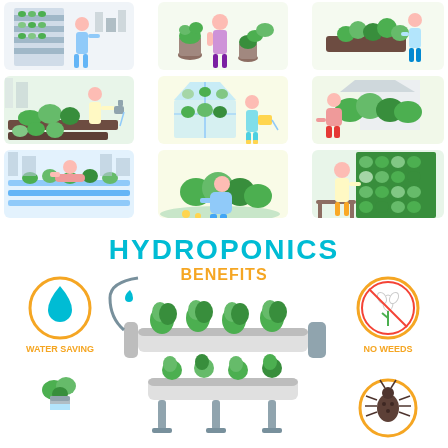[Figure (illustration): A 3x3 grid of flat-style illustrations showing people engaged in various gardening and urban farming activities: indoor vertical farming, container gardening, raised bed gardening, greenhouse growing, backyard gardening, rooftop farming, outdoor gardening, and living wall gardening.]
HYDROPONICS
BENEFITS
[Figure (infographic): Hydroponics benefits infographic showing: Water Saving (water drop icon in teal circle), No Weeds (crossed plant icon in orange circle), plant growth icon, hydroponic system diagram with plants in white PVC pipe trays, and a bug icon in orange circle.]